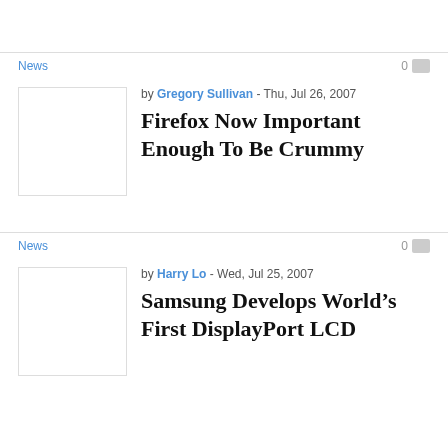News
0
by Gregory Sullivan - Thu, Jul 26, 2007
Firefox Now Important Enough To Be Crummy
[Figure (photo): Blank/white thumbnail image placeholder]
News
0
by Harry Lo - Wed, Jul 25, 2007
Samsung Develops World's First DisplayPort LCD
[Figure (photo): Blank/white thumbnail image placeholder]